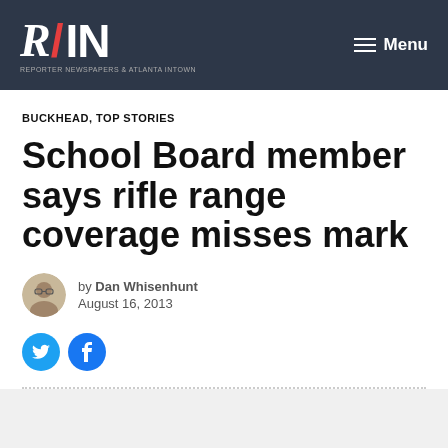R/IN REPORTER NEWSPAPERS & ATLANTA INTOWN
BUCKHEAD, TOP STORIES
School Board member says rifle range coverage misses mark
by Dan Whisenhunt
August 16, 2013